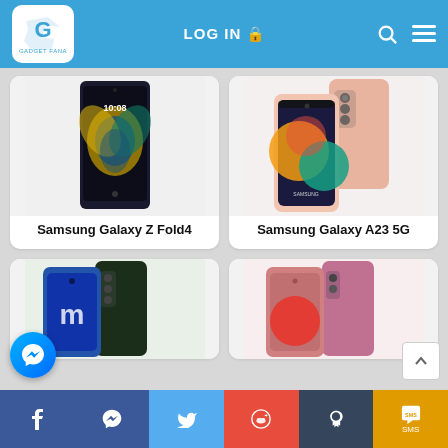Gadget Fana - LOG IN
[Figure (photo): Samsung Galaxy Z Fold4 smartphone product image]
Samsung Galaxy Z Fold4
[Figure (photo): Samsung Galaxy A23 5G smartphone product image]
Samsung Galaxy A23 5G
[Figure (photo): Partial smartphone product card - bottom row left]
[Figure (photo): Partial smartphone product card - bottom row right]
Facebook | Messenger | Twitter | Reddit | Tumblr | SMS